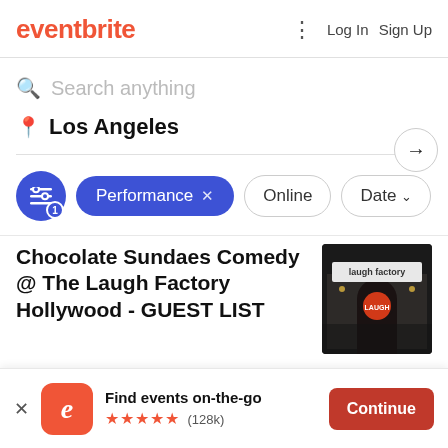eventbrite  Log In  Sign Up
Search anything
Los Angeles
Performance × Online Date
Chocolate Sundaes Comedy @ The Laugh Factory Hollywood - GUEST LIST
[Figure (photo): Exterior night photo of The Laugh Factory Hollywood comedy club building with signage and logo]
Find events on-the-go ★★★★★ (128k)
Continue